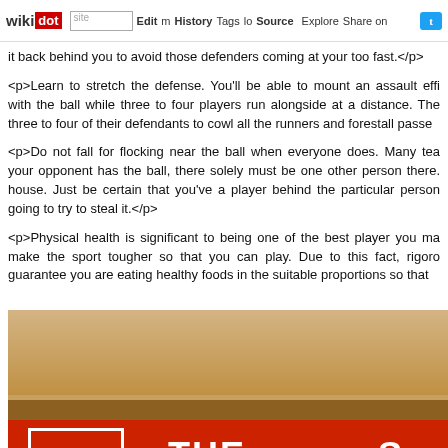wikidot | site | Edit | History | Tags | Source | Explore | Share on Twitter
it back behind you to avoid those defenders coming at your too fast.</p>
<p>Learn to stretch the defense. You'll be able to mount an assault effi with the ball while three to four players run alongside at a distance. The three to four of their defendants to cowl all the runners and forestall passe
<p>Do not fall for flocking near the ball when everyone does. Many tea your opponent has the ball, there solely must be one other person there. house. Just be certain that you've a player behind the particular person going to try to steal it.</p>
<p>Physical health is significant to being one of the best player you ma make the sport tougher so that you can play. Due to this fact, rigoro guarantee you are eating healthy foods in the suitable proportions so that
[Figure (photo): Photo of what appears to be a red retail sign or storefront display with a logo box on the left containing stylized text, and large white text reading 'THE S' visible. The sign is on a wooden shelf against a beige/tan wall background.]